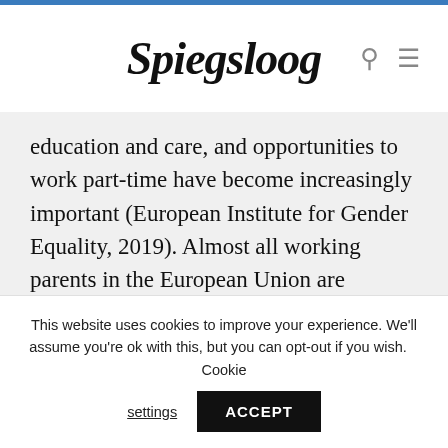Spiegsloog
education and care, and opportunities to work part-time have become increasingly important (European Institute for Gender Equality, 2019). Almost all working parents in the European Union are entitled to at least some form of parental leave now, even though there are large differences
This website uses cookies to improve your experience. We'll assume you're ok with this, but you can opt-out if you wish. Cookie settings ACCEPT